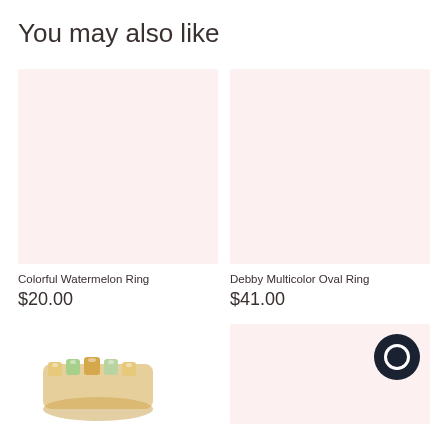You may also like
[Figure (photo): Light pink/blush product image placeholder for Colorful Watermelon Ring]
[Figure (photo): Light pink/blush product image placeholder for Debby Multicolor Oval Ring]
Colorful Watermelon Ring
$20.00
Debby Multicolor Oval Ring
$41.00
[Figure (photo): Partial view of a gold ring with colorful gemstones at the bottom of the page]
[Figure (photo): Light pink product image placeholder with a dark circular chat button overlay in the top right corner]